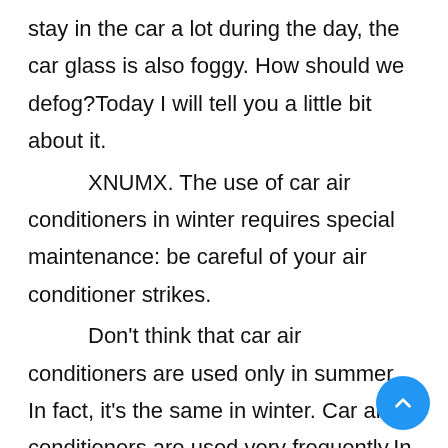stay in the car a lot during the day, the car glass is also foggy. How should we defog?Today I will tell you a little bit about it.
XNUMX. The use of car air conditioners in winter requires special maintenance: be careful of your air conditioner strikes.
Don't think that car air conditioners are used only in summer. In fact, it's the same in winter. Car air conditioners are used very frequently.In the cold winter, many people have the habit of turning on the heating as soon as they enter the car; in rainy days, the window glass of the car will fog, the simples way is to turn on the air conditioner to eliminate